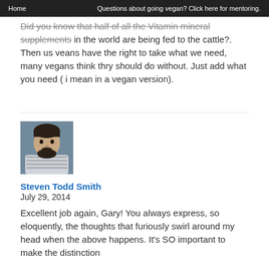Home    Questions about going vegan? Click here for mentoring.
Did you know that half of all the Vitamin mineral supplements in the world are being fed to the cattle?. Then us veans have the right to take what we need, many vegans think thry should do without. Just add what you need ( i mean in a vegan version).
[Figure (photo): Headshot of a bearded man wearing a striped shirt, photographed against a blue-grey background.]
Steven Todd Smith
July 29, 2014
Excellent job again, Gary! You always express, so eloquently, the thoughts that furiously swirl around my head when the above happens. It's SO important to make the distinction